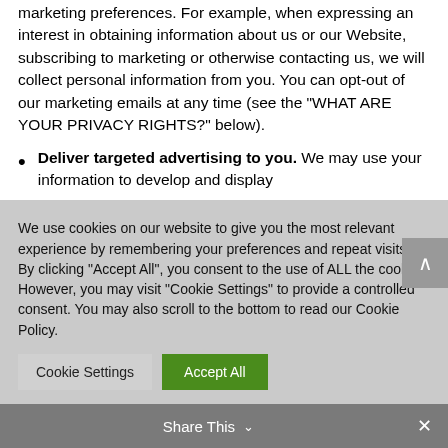marketing preferences. For example, when expressing an interest in obtaining information about us or our Website, subscribing to marketing or otherwise contacting us, we will collect personal information from you. You can opt-out of our marketing emails at any time (see the “WHAT ARE YOUR PRIVACY RIGHTS?” below).
Deliver targeted advertising to you. We may use your information to develop and display
We use cookies on our website to give you the most relevant experience by remembering your preferences and repeat visits. By clicking “Accept All”, you consent to the use of ALL the cookies. However, you may visit “Cookie Settings” to provide a controlled consent. You may also scroll to the bottom to read our Cookie Policy.